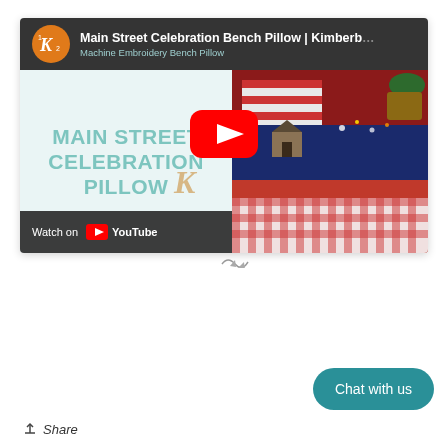[Figure (screenshot): YouTube embedded video player showing 'Main Street Celebration Bench Pillow | Kimberbell' with Machine Embroidery Bench Pillow subtitle. Left panel shows teal text on light background reading 'MAIN STREET CELEBRATION PILLOW'. Right panel shows photo of patriotic quilted bench pillow in red, white and blue with red gingham fabric. YouTube play button centered over the image. Watch on YouTube button in bottom-left dark bar. Kimberbell K logo in orange circle at top-left.]
Chat with us
Share